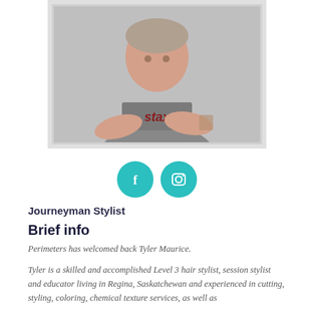[Figure (photo): A young man wearing a grey 'stax' t-shirt with arms crossed, visible tattoo on right arm, posed against a light grey background.]
[Figure (infographic): Two teal circular social media icons: Facebook (f) and Instagram (camera) icons side by side.]
Journeyman Stylist
Brief info
Perimeters has welcomed back Tyler Maurice.
Tyler is a skilled and accomplished Level 3 hair stylist, session stylist and educator living in Regina, Saskatchewan and experienced in cutting, styling, coloring, chemical texture services, as well as